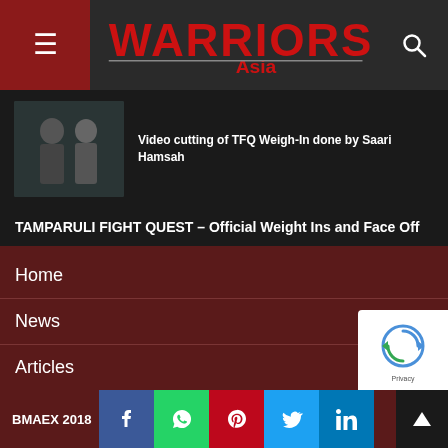Warriors Asia
[Figure (screenshot): Article thumbnail showing two men in suits]
Video cutting of TFQ Weigh-In done by Saari Hamsah
TAMPARULI FIGHT QUEST – Official Weight Ins and Face Off
Home
News
Articles
Events
Fighters
Social
BMAEX 2018
BMAEX 2018 — Facebook, WhatsApp, Pinterest, Twitter, LinkedIn social share buttons